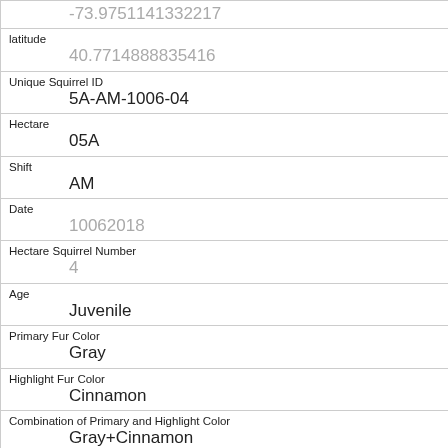| Field | Value |
| --- | --- |
|  | -73.9751141332217 |
| latitude | 40.7714888835416 |
| Unique Squirrel ID | 5A-AM-1006-04 |
| Hectare | 05A |
| Shift | AM |
| Date | 10062018 |
| Hectare Squirrel Number | 4 |
| Age | Juvenile |
| Primary Fur Color | Gray |
| Highlight Fur Color | Cinnamon |
| Combination of Primary and Highlight Color | Gray+Cinnamon |